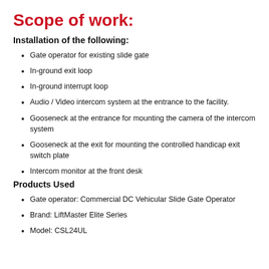Scope of work:
Installation of the following:
Gate operator for existing slide gate
In-ground exit loop
In-ground interrupt loop
Audio / Video intercom system at the entrance to the facility.
Gooseneck at the entrance for mounting the camera of the intercom system
Gooseneck at the exit for mounting the controlled handicap exit switch plate
Intercom monitor at the front desk
Products Used
Gate operator: Commercial DC Vehicular Slide Gate Operator
Brand: LiftMaster Elite Series
Model: CSL24UL